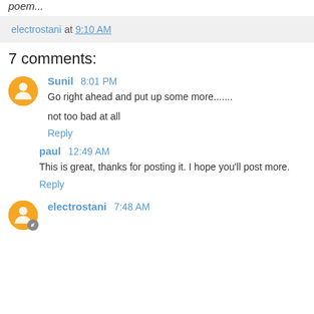poem...
electrostani at 9:10 AM
7 comments:
Sunil 8:01 PM
Go right ahead and put up some more.......

not too bad at all
Reply
paul 12:49 AM
This is great, thanks for posting it. I hope you'll post more.
Reply
electrostani 7:48 AM